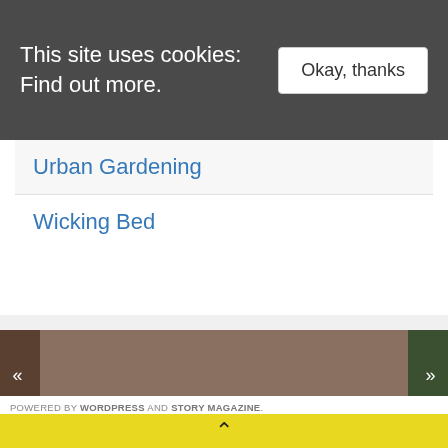This site uses cookies: Find out more.
Okay, thanks
Urban Gardening
Wicking Bed
[Figure (screenshot): Search box with magnifying glass icon on light gray background]
[Figure (photo): Image strip showing partial photos on left and right edges with navigation arrows, dark earthy tones]
POWERED BY WORDPRESS AND STORY MAGAZINE.